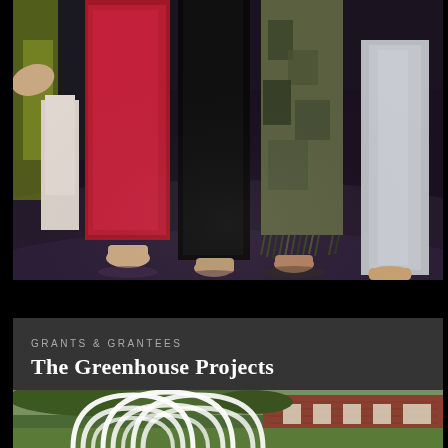[Figure (photo): Close-up photo of dancers' lower legs and feet on a dark stage floor. Multiple performers in colorful costumes including pink sequined pants, black pants, camouflage pants with fringe, and silver leggings. Some performers are barefoot, some have toe nail polish. Dark purple-black stage floor reflects stage lighting.]
GRANTS & GRANTEES
The Greenhouse Projects
[Figure (photo): Outdoor photo of a large white tubular sculptural installation consisting of interlocking white arch-shaped rings or loops, placed on a lawn in front of a red brick building with trees in the background.]